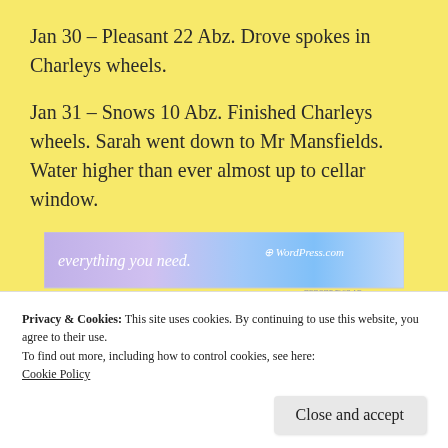Jan 30 – Pleasant 22 Abz. Drove spokes in Charleys wheels.
Jan 31 – Snows 10 Abz. Finished Charleys wheels. Sarah went down to Mr Mansfields. Water higher than ever almost up to cellar window.
[Figure (other): WordPress.com advertisement banner with gradient purple-to-blue background. Text reads 'everything you need.' with WordPress.com logo on the right.]
Privacy & Cookies: This site uses cookies. By continuing to use this website, you agree to their use.
To find out more, including how to control cookies, see here:
Cookie Policy